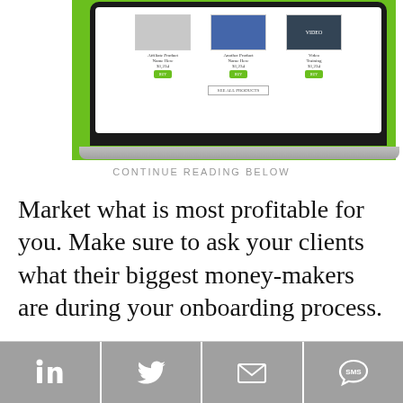[Figure (screenshot): A laptop computer displaying an e-commerce website with product listings on a green background]
CONTINUE READING BELOW
Market what is most profitable for you. Make sure to ask your clients what their biggest money-makers are during your onboarding process.
[Figure (infographic): Social sharing bar with LinkedIn, Twitter, email, and SMS buttons]